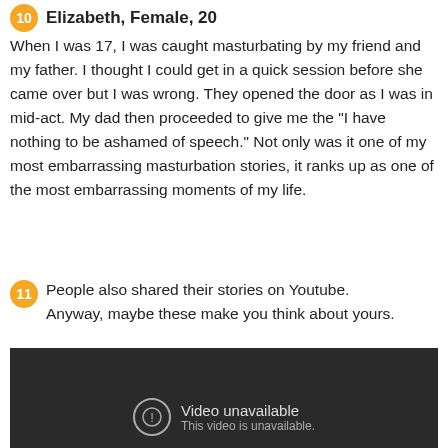Elizabeth, Female, 20
When I was 17, I was caught masturbating by my friend and my father. I thought I could get in a quick session before she came over but I was wrong. They opened the door as I was in mid-act. My dad then proceeded to give me the “I have nothing to be ashamed of speech.” Not only was it one of my most embarrassing masturbation stories, it ranks up as one of the most embarrassing moments of my life.
11  People also shared their stories on Youtube. Anyway, maybe these make you think about yours.
[Figure (screenshot): Embedded YouTube video player showing 'Video unavailable' message with an exclamation mark icon in a circle on a dark background. Text reads: 'Video unavailable' and 'This video is unavailable.']